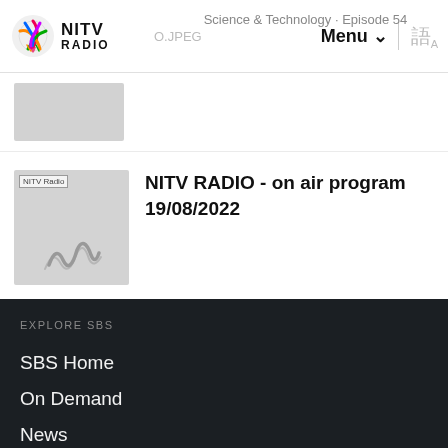NITV RADIO | Science & Technology · Episode 54 | Menu | [language icon]
[Figure (logo): NITV Radio logo with colourful brain/globe icon and text NITV RADIO]
[Figure (photo): NITV Radio thumbnail placeholder - grey box with NITV Radio label and SBS wave watermark]
NITV RADIO - on air program 19/08/2022
EXPLORE SBS
SBS Home
On Demand
News
Languages
Indigenous
Listen